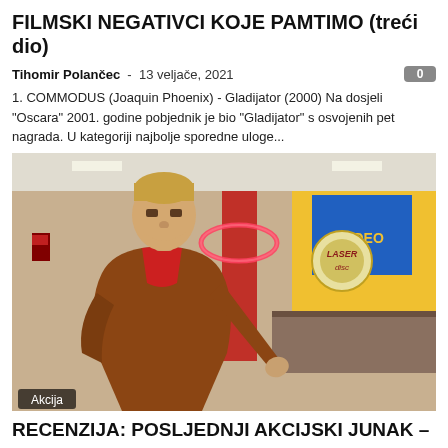FILMSKI NEGATIVCI KOJE PAMTIMO (treći dio)
Tihomir Polančec  -  13 veljače, 2021
1. COMMODUS (Joaquin Phoenix) - Gladijator (2000) Na dosjeli "Oscara" 2001. godine pobjednik je bio "Gladijator" s osvojenih pet nagrada. U kategoriji najbolje sporedne uloge...
[Figure (photo): A man in a brown leather jacket and red shirt standing in what appears to be a video rental store. A 'Laser' branded sign is visible in the background. Tag label reads 'Akcija'.]
Akcija
RECENZIJA: POSLJEDNJI AKCIJSKI JUNAK –